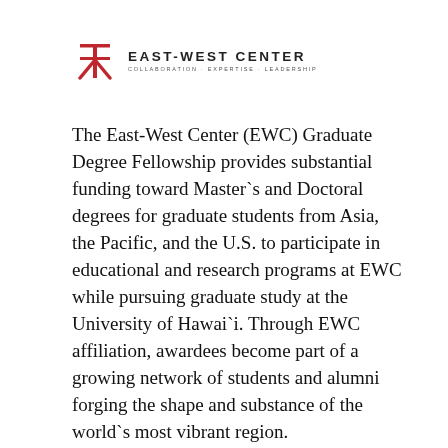[Figure (logo): East-West Center logo with red stylized character icon and text 'EAST-WEST CENTER' with tagline 'COLLABORATION · EXPERTISE · LEADERSHIP']
The East-West Center (EWC) Graduate Degree Fellowship provides substantial funding toward Master`s and Doctoral degrees for graduate students from Asia, the Pacific, and the U.S. to participate in educational and research programs at EWC while pursuing graduate study at the University of Hawai`i. Through EWC affiliation, awardees become part of a growing network of students and alumni forging the shape and substance of the world`s most vibrant region.
Priority in the student selection process is given to applicants seeking degrees in fields of study related to and relevant to the East-West...